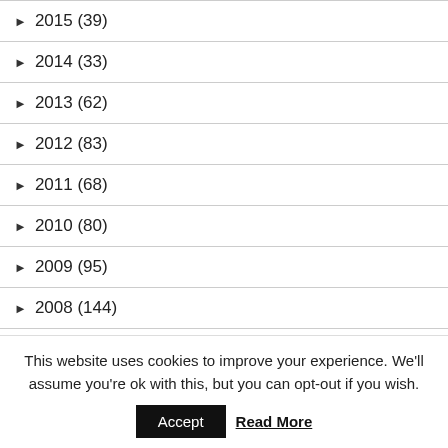► 2015 (39)
► 2014 (33)
► 2013 (62)
► 2012 (83)
► 2011 (68)
► 2010 (80)
► 2009 (95)
► 2008 (144)
This website uses cookies to improve your experience. We'll assume you're ok with this, but you can opt-out if you wish.
Accept | Read More